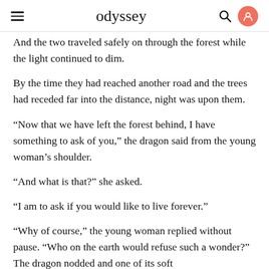odyssey
And the two traveled safely on through the forest while the light continued to dim.
By the time they had reached another road and the trees had receded far into the distance, night was upon them.
“Now that we have left the forest behind, I have something to ask of you,” the dragon said from the young woman’s shoulder.
“And what is that?” she asked.
“I am to ask if you would like to live forever.”
“Why of course,” the young woman replied without pause. “Who on the earth would refuse such a wonder?” The dragon nodded and one of its soft